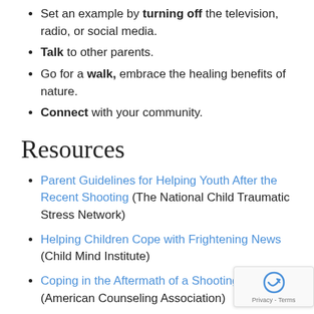Set an example by turning off the television, radio, or social media.
Talk to other parents.
Go for a walk, embrace the healing benefits of nature.
Connect with your community.
Resources
Parent Guidelines for Helping Youth After the Recent Shooting (The National Child Traumatic Stress Network)
Helping Children Cope with Frightening News (Child Mind Institute)
Coping in the Aftermath of a Shooting (American Counseling Association)
The Virtual Wellness Center has resources and tools for parents and